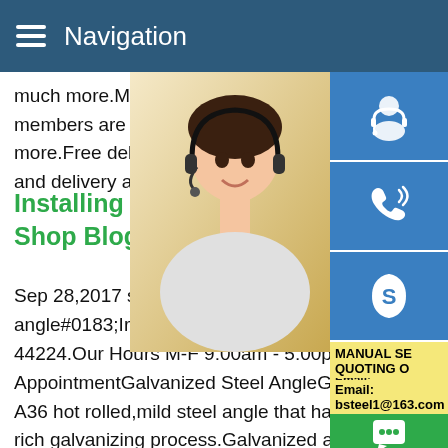Navigation
much more.Metal Angle Braces at Ace Ha members are eligible to receive free delive more.Free delivery offer excludes same da and delivery area vary by store.
Installing Aluminum Fence Pa Shop Blog
Sep 28,2017 ss400 angle iron sizes angle angle#0183;Iron Fence Shop.887 Hampsh 44224.Our Hours M-F 9:00am - 5:00pm E AppointmentGalvanized Steel AngleGalvanized Steel Angle,is a A36 hot rolled,mild steel angle that has been hot dipped in a zinc rich galvanizing process.Galvanized angle is a lower cost alternative to stainless steel to achieve rust free protection for 30 years,while maintaining comparable strength with a durable hard surface coating.Metals Depot stocks many sizes in pre-c
[Figure (photo): Woman wearing headset, customer service representative, smiling]
[Figure (infographic): Three blue icon buttons: customer service headset icon, phone/call icon, Skype icon. Yellow banner with MANUAL SE... and QUOTING O... text and Email: bsteel1@163.com. Green chat button and gray scroll-to-top button.]